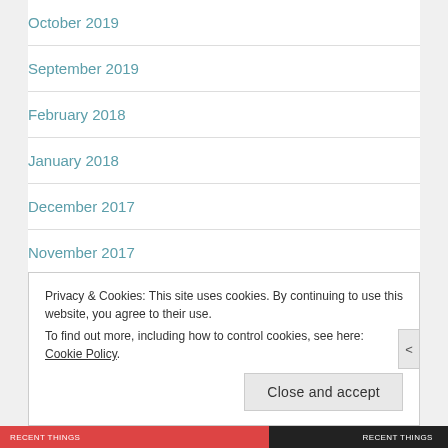October 2019
September 2019
February 2018
January 2018
December 2017
November 2017
October 2017
Privacy & Cookies: This site uses cookies. By continuing to use this website, you agree to their use.
To find out more, including how to control cookies, see here: Cookie Policy
Close and accept